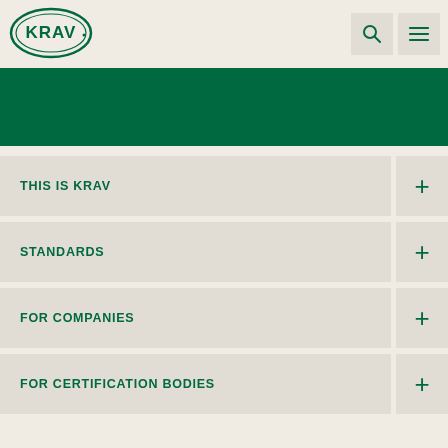[Figure (logo): KRAV logo — green oval outline with KRAV text inside]
[Figure (infographic): Navigation header with search icon and hamburger menu icon on light beige background]
[Figure (other): Dark green horizontal banner area]
THIS IS KRAV
STANDARDS
FOR COMPANIES
FOR CERTIFICATION BODIES